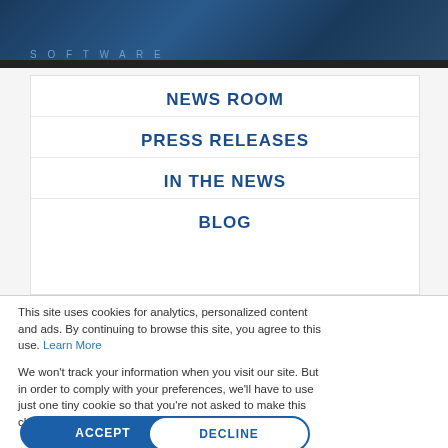SOFTWARE
NEWS ROOM
PRESS RELEASES
IN THE NEWS
BLOG
This site uses cookies for analytics, personalized content and ads. By continuing to browse this site, you agree to this use. Learn More
We won't track your information when you visit our site. But in order to comply with your preferences, we'll have to use just one tiny cookie so that you're not asked to make this choice again.
ACCEPT
DECLINE